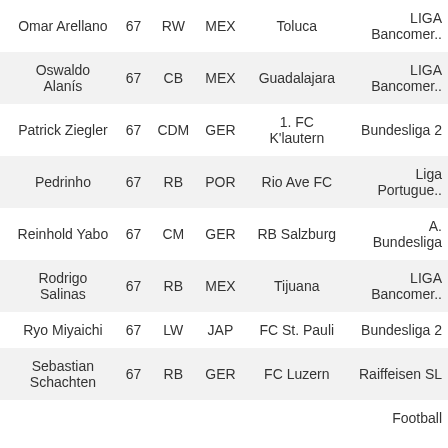| Name | Rating | Position | Nationality | Club | League |
| --- | --- | --- | --- | --- | --- |
| Omar Arellano | 67 | RW | MEX | Toluca | LIGA Bancomer.. |
| Oswaldo Alanís | 67 | CB | MEX | Guadalajara | LIGA Bancomer.. |
| Patrick Ziegler | 67 | CDM | GER | 1. FC K'lautern | Bundesliga 2 |
| Pedrinho | 67 | RB | POR | Rio Ave FC | Liga Portugue.. |
| Reinhold Yabo | 67 | CM | GER | RB Salzburg | A. Bundesliga |
| Rodrigo Salinas | 67 | RB | MEX | Tijuana | LIGA Bancomer.. |
| Ryo Miyaichi | 67 | LW | JAP | FC St. Pauli | Bundesliga 2 |
| Sebastian Schachten | 67 | RB | GER | FC Luzern | Raiffeisen SL |
|  |  |  |  |  | Football |